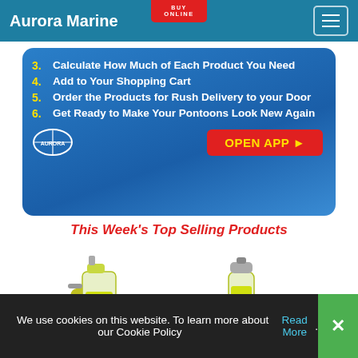[Figure (screenshot): Red 'BUY ONLINE' badge at top center]
Aurora Marine
[Figure (infographic): Blue promotional box with numbered steps: 3. Calculate How Much of Each Product You Need, 4. Add to Your Shopping Cart, 5. Order the Products for Rush Delivery to your Door, 6. Get Ready to Make Your Pontoons Look New Again. Aurora logo bottom left, red OPEN APP button bottom right.]
3. Calculate How Much of Each Product You Need
4. Add to Your Shopping Cart
5. Order the Products for Rush Delivery to your Door
6. Get Ready to Make Your Pontoons Look New Again
This Week's Top Selling Products
[Figure (photo): Two Aurora Marine product bottles — a spray bottle on the left and a smaller aerosol can on the right.]
We use cookies on this website. To learn more about our Cookie Policy  Read More.